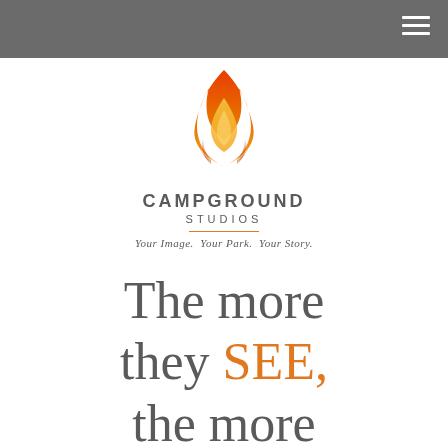[Navigation bar with hamburger menu icon]
[Figure (logo): Campground Studios logo: orange flame graphic above the text CAMPGROUND STUDIOS with tagline 'Your Image. Your Park. Your Story.']
The more they SEE, the more